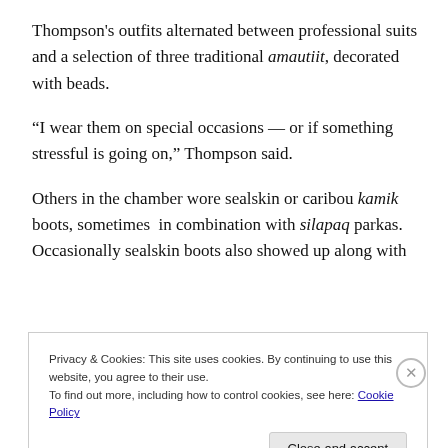Thompson's outfits alternated between professional suits and a selection of three traditional amautiit, decorated with beads.
“I wear them on special occasions — or if something stressful is going on,” Thompson said.
Others in the chamber wore sealskin or caribou kamik boots, sometimes in combination with silapaq parkas. Occasionally sealskin boots also showed up along with
Privacy & Cookies: This site uses cookies. By continuing to use this website, you agree to their use.
To find out more, including how to control cookies, see here: Cookie Policy
Close and accept